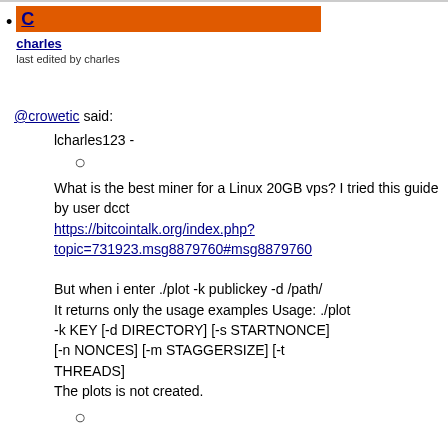C — charles — last edited by charles
@crowetic said:
lcharles123 -
○
What is the best miner for a Linux 20GB vps? I tried this guide by user dcct https://bitcointalk.org/index.php?topic=731923.msg8879760#msg8879760

But when i enter ./plot -k publickey -d /path/ It returns only the usage examples Usage: ./plot -k KEY [-d DIRECTORY] [-s STARTNONCE] [-n NONCES] [-m STAGGERSIZE] [-t THREADS]
The plots is not created.
○